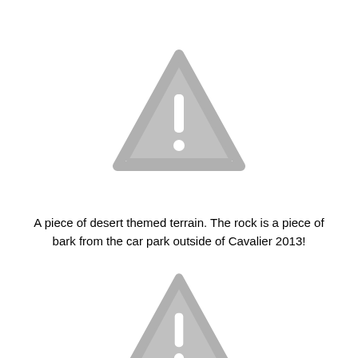[Figure (illustration): A grey warning triangle icon with an exclamation mark in the center, positioned in the upper portion of the page.]
A piece of desert themed terrain. The rock is a piece of bark from the car park outside of Cavalier 2013!
[Figure (illustration): A grey warning triangle icon with an exclamation mark in the center, positioned in the lower portion of the page.]